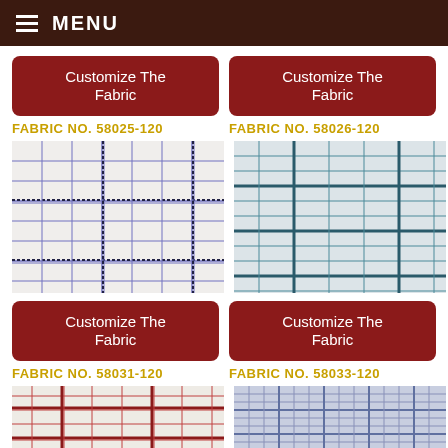MENU
Customize The Fabric
Customize The Fabric
FABRIC NO. 58025-120
FABRIC NO. 58026-120
[Figure (photo): Plaid fabric swatch with dark navy/black and purple grid lines on white background - Fabric 58025-120]
[Figure (photo): Plaid fabric swatch with teal/blue grid lines on light background - Fabric 58026-120]
Customize The Fabric
Customize The Fabric
FABRIC NO. 58031-120
FABRIC NO. 58033-120
[Figure (photo): Plaid fabric swatch with red/burgundy grid lines on white/cream background - Fabric 58031-120]
[Figure (photo): Plaid fabric swatch with blue/lavender grid lines on light blue/grey background - Fabric 58033-120]